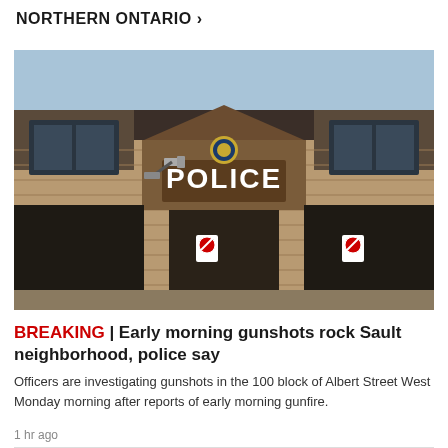NORTHERN ONTARIO >
[Figure (photo): Exterior of a police station building with brick facade. A large sign reads 'POLICE' with a police crest above it. Security cameras are visible on the building.]
BREAKING | Early morning gunshots rock Sault neighborhood, police say
Officers are investigating gunshots in the 100 block of Albert Street West Monday morning after reports of early morning gunfire.
1 hr ago